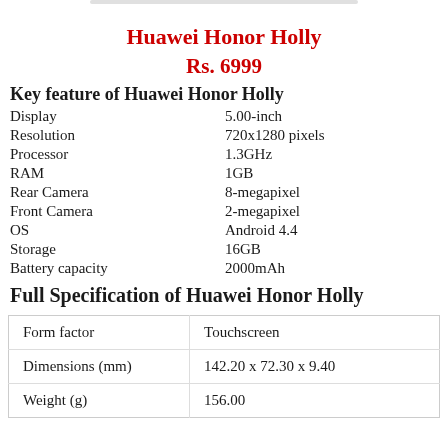Huawei Honor Holly
Rs. 6999
Key feature of Huawei Honor Holly
| Display | 5.00-inch |
| Resolution | 720x1280 pixels |
| Processor | 1.3GHz |
| RAM | 1GB |
| Rear Camera | 8-megapixel |
| Front Camera | 2-megapixel |
| OS | Android 4.4 |
| Storage | 16GB |
| Battery capacity | 2000mAh |
Full Specification of Huawei Honor Holly
| Form factor | Touchscreen |
| Dimensions (mm) | 142.20 x 72.30 x 9.40 |
| Weight (g) | 156.00 |